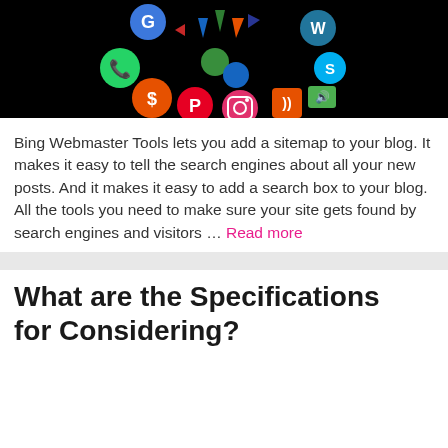[Figure (illustration): Social media icons (Google, WhatsApp, WordPress, Skype, Pinterest, Instagram, RSS, audio, dollar sign, etc.) arranged in a circle/arc on a black background with colorful arrows pointing inward]
Bing Webmaster Tools lets you add a sitemap to your blog. It makes it easy to tell the search engines about all your new posts. And it makes it easy to add a search box to your blog. All the tools you need to make sure your site gets found by search engines and visitors … Read more
What are the Specifications for Considering?